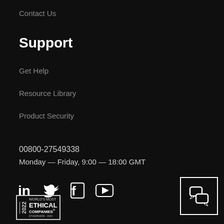Contact Us
Support
Get Help
Resource Library
Product Security
00800-27549338
Monday — Friday, 9:00 — 18:00 GMT
[Figure (infographic): Social media icons: LinkedIn, Twitter, Facebook, YouTube]
[Figure (logo): 2022 World's Most Ethical Companies badge]
[Figure (infographic): Chat button icon in white square border]